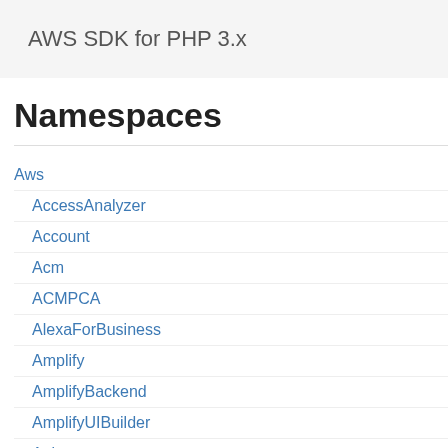AWS SDK for PHP 3.x
Namespaces
Aws
AccessAnalyzer
Account
Acm
ACMPCA
AlexaForBusiness
Amplify
AmplifyBackend
AmplifyUIBuilder
Api
ApiGateway
ApiGatewayManagementApi
The hour of the day schedule begins rep the hour (0 to 23). T time zone of the ga
Tags
Type: Array of T
A list of up to 50 tag schedule, sorted alp Each tag is a key-va more than 10 tags a tags using the List operation.